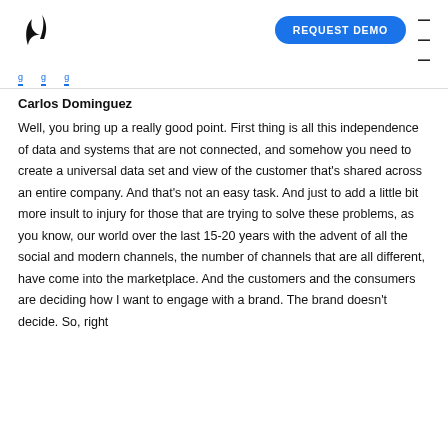REQUEST DEMO
Carlos Dominguez
Well, you bring up a really good point. First thing is all this independence of data and systems that are not connected, and somehow you need to create a universal data set and view of the customer that's shared across an entire company. And that's not an easy task. And just to add a little bit more insult to injury for those that are trying to solve these problems, as you know, our world over the last 15-20 years with the advent of all the social and modern channels, the number of channels that are all different, have come into the marketplace. And the customers and the consumers are deciding how I want to engage with a brand. The brand doesn't decide. So, right